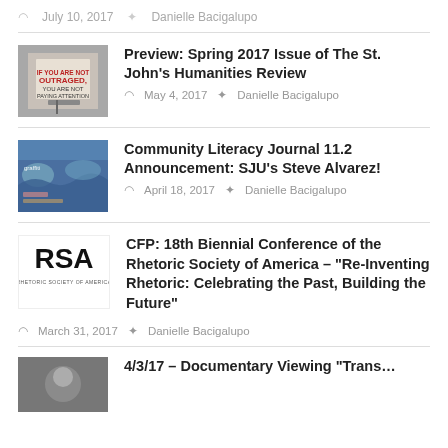July 10, 2017   Danielle Bacigalupo
Preview: Spring 2017 Issue of The St. John's Humanities Review
May 4, 2017   Danielle Bacigalupo
Community Literacy Journal 11.2 Announcement: SJU's Steve Alvarez!
April 18, 2017   Danielle Bacigalupo
CFP: 18th Biennial Conference of the Rhetoric Society of America – "Re-Inventing Rhetoric: Celebrating the Past, Building the Future"
March 31, 2017   Danielle Bacigalupo
4/3/17 – Documentary Viewing "Trans…